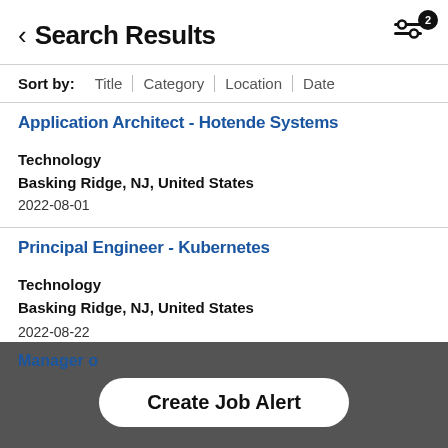Search Results
Sort by: Title | Category | Location | Date
Application Architect - Hotende Systems
Technology
Basking Ridge, NJ, United States
2022-08-01
Principal Engineer - Kubernetes
Technology
Basking Ridge, NJ, United States
2022-08-22
Manager o...
Create Job Alert